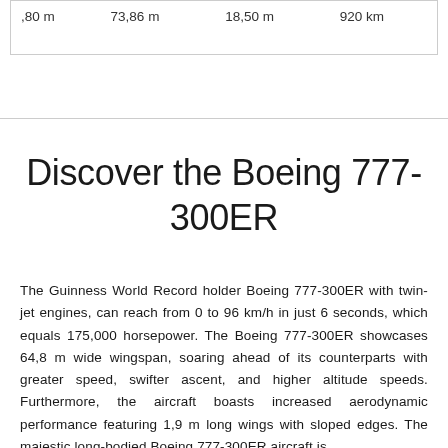| ,80 m | 73,86 m | 18,50 m | 920 km |
Discover the Boeing 777-300ER
The Guinness World Record holder Boeing 777-300ER with twin-jet engines, can reach from 0 to 96 km/h in just 6 seconds, which equals 175,000 horsepower. The Boeing 777-300ER showcases 64,8 m wide wingspan, soaring ahead of its counterparts with greater speed, swifter ascent, and higher altitude speeds. Furthermore, the aircraft boasts increased aerodynamic performance featuring 1,9 m long wings with sloped edges. The majestic long-bodied Boeing 777-300ER aircraft is